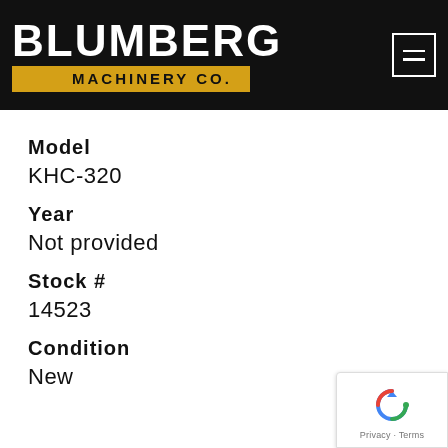[Figure (logo): Blumberg Machinery Co. logo on black background with golden banner. White bold text 'BLUMBERG' above a gold/yellow bar reading 'MACHINERY CO.' A hamburger menu icon is in the top right.]
Model
KHC-320
Year
Not provided
Stock #
14523
Condition
New